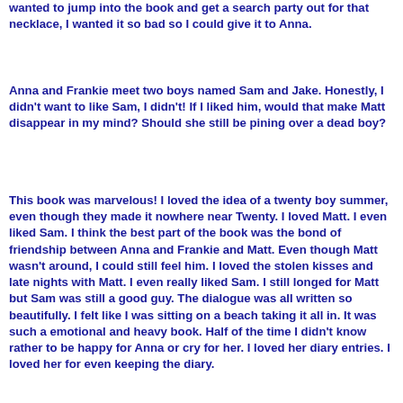wanted to jump into the book and get a search party out for that necklace, I wanted it so bad so I could give it to Anna.
Anna and Frankie meet two boys named Sam and Jake. Honestly, I didn't want to like Sam, I didn't! If I liked him, would that make Matt disappear in my mind? Should she still be pining over a dead boy?
This book was marvelous! I loved the idea of a twenty boy summer, even though they made it nowhere near Twenty. I loved Matt. I even liked Sam. I think the best part of the book was the bond of friendship between Anna and Frankie and Matt. Even though Matt wasn't around, I could still feel him. I loved the stolen kisses and late nights with Matt. I even really liked Sam. I still longed for Matt but Sam was still a good guy. The dialogue was all written so beautifully. I felt like I was sitting on a beach taking it all in. It was such a emotional and heavy book. Half of the time I didn't know rather to be happy for Anna or cry for her. I loved her diary entries. I loved her for even keeping the diary.